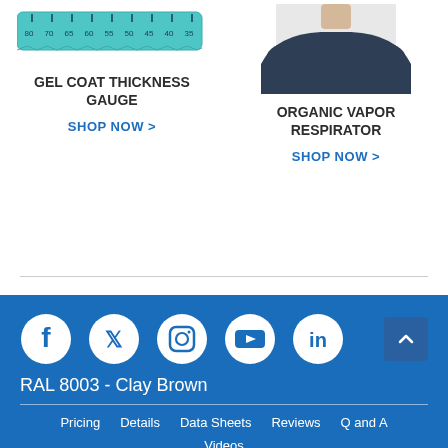[Figure (photo): Gel coat thickness gauge - teal colored ruler-like device with numbers 80 70 65 60 55 50 45 40 35]
[Figure (photo): Person wearing a dark navy shirt, cropped showing neck and upper torso]
GEL COAT THICKNESS GAUGE
ORGANIC VAPOR RESPIRATOR
SHOP NOW >
SHOP NOW >
[Figure (infographic): Social media icons row: Facebook, Twitter, Instagram, YouTube, LinkedIn, and a scroll-to-top button]
RAL 8003 - Clay Brown
Pricing   Details   Data Sheets   Reviews   Q and A
Videos